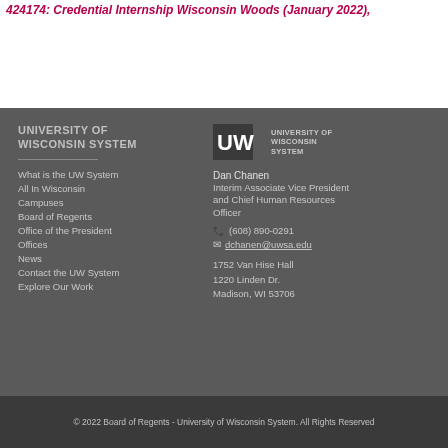424174: Credential Internship Wisconsin Woods (January 2022),
UNIVERSITY OF WISCONSIN SYSTEM
What is the UW System
All In Wisconsin
Campuses
Board of Regents
Office of the President
Offices
News
Contact the UW System
Explore Our Work
[Figure (logo): University of Wisconsin System logo with UW monogram and text]
Dan Chanen
Interim Associate Vice President and Chief Human Resources Officer
(608) 890-0291
dchanen@uwsa.edu
1752 Van Hise Hall
1220 Linden Dr.
Madison, WI 53706
© 2022 Board of Regents - University of Wisconsin System. All Rights Reserved